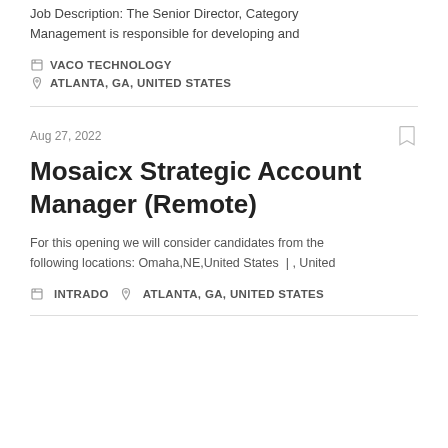Job Description: The Senior Director, Category Management is responsible for developing and
VACO TECHNOLOGY | ATLANTA, GA, UNITED STATES
Aug 27, 2022
Mosaicx Strategic Account Manager (Remote)
For this opening we will consider candidates from the following locations: Omaha,NE,United States | , United
INTRADO | ATLANTA, GA, UNITED STATES